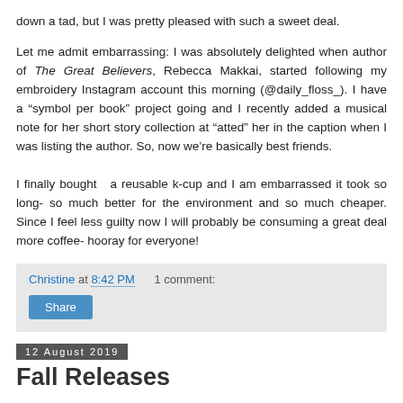down a tad, but I was pretty pleased with such a sweet deal.
Let me admit embarrassing: I was absolutely delighted when author of The Great Believers, Rebecca Makkai, started following my embroidery Instagram account this morning (@daily_floss_). I have a “symbol per book” project going and I recently added a musical note for her short story collection at “atted” her in the caption when I was listing the author. So, now we’re basically best friends.
I finally bought  a reusable k-cup and I am embarrassed it took so long- so much better for the environment and so much cheaper. Since I feel less guilty now I will probably be consuming a great deal more coffee- hooray for everyone!
Christine at 8:42 PM    1 comment:
Share
12 August 2019
Fall Releases